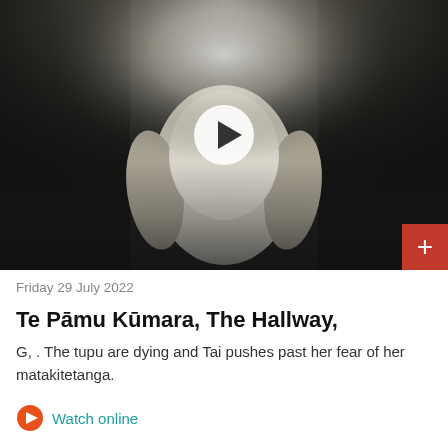[Figure (screenshot): Video thumbnail showing a person from behind wearing a white shirt in a dark hallway with a bright light source above, with a play button overlay and a red plus button in the bottom right corner]
Friday 29 July 2022
Te Pāmu Kūmara, The Hallway,
G, . The tupu are dying and Tai pushes past her fear of her matakitetanga.
Watch online